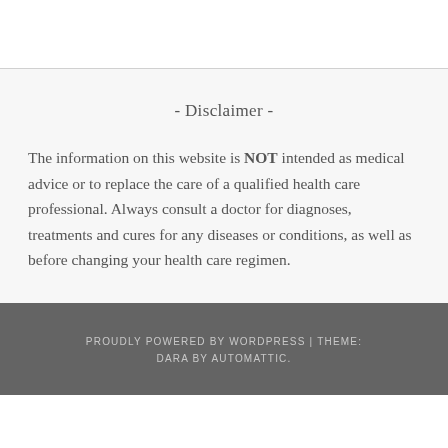- Disclaimer -
The information on this website is NOT intended as medical advice or to replace the care of a qualified health care professional. Always consult a doctor for diagnoses, treatments and cures for any diseases or conditions, as well as before changing your health care regimen.
PROUDLY POWERED BY WORDPRESS | THEME: DARA BY AUTOMATTIC.